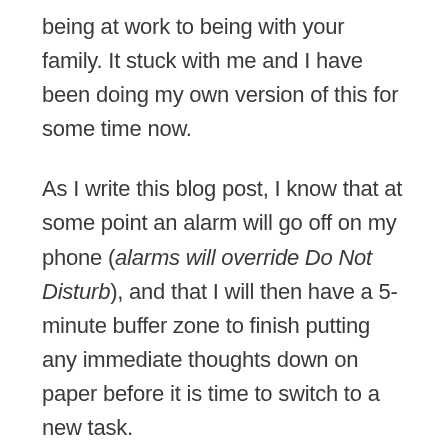being at work to being with your family. It stuck with me and I have been doing my own version of this for some time now.
As I write this blog post, I know that at some point an alarm will go off on my phone (alarms will override Do Not Disturb), and that I will then have a 5-minute buffer zone to finish putting any immediate thoughts down on paper before it is time to switch to a new task.
These alarms act as mini deadlines and allow me to break down an overwhelming task into